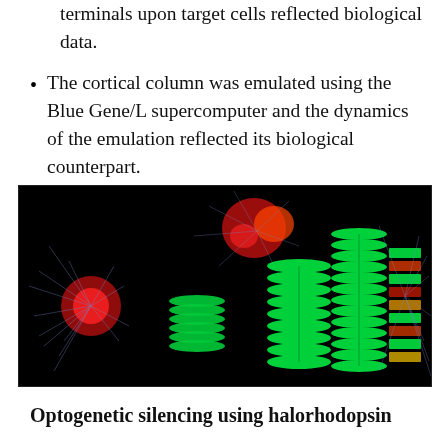terminals upon target cells reflected biological data.
The cortical column was emulated using the Blue Gene/L supercomputer and the dynamics of the emulation reflected its biological counterpart.
[Figure (illustration): Scientific visualization on a black background showing neuronal column structures with green horizontal layered plates and red/blue neuronal clusters with branching dendrites, representing cortical column emulation stages.]
Optogenetic silencing using halorhodopsin